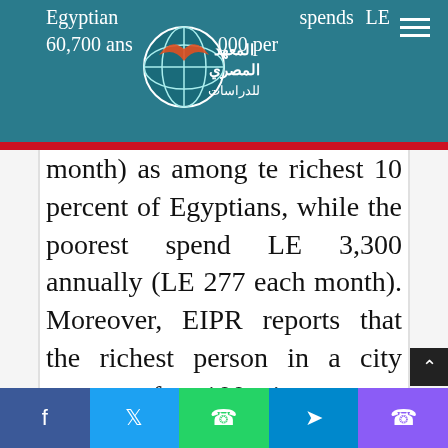Egyptian [logo] spends LE 60,700 annually (LE 5,000 per
month) as among te richest 10 percent of Egyptians, while the poorest spend LE 3,300 annually (LE 277 each month). Moreover, EIPR reports that the richest person in a city account for 100 times more spending that the poorest[22]. Globally, Egypt is listed the eighth worst country in wealth distribution. wealth distribution figures give a more realistic view of the situation
Facebook | Twitter | WhatsApp | Telegram | Phone